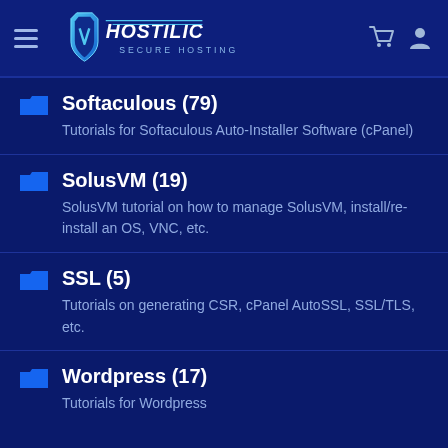Hostilic Secure Hosting
Softaculous (79)
Tutorials for Softaculous Auto-Installer Software (cPanel)
SolusVM (19)
SolusVM tutorial on how to manage SolusVM, install/re-install an OS, VNC, etc.
SSL (5)
Tutorials on generating CSR, cPanel AutoSSL, SSL/TLS, etc.
Wordpress (17)
Tutorials for Wordpress